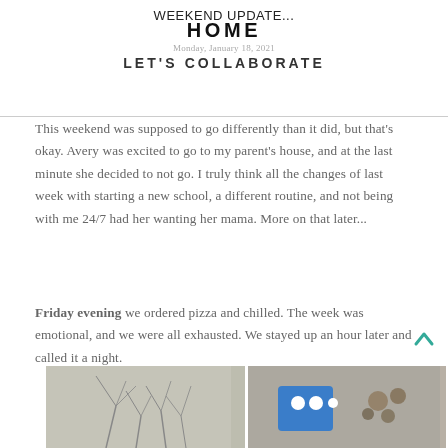WEEKEND UPDATE...
HOME
Monday, January 18, 2021
LET'S COLLABORATE
This weekend was supposed to go differently than it did, but that's okay. Avery was excited to go to my parent's house, and at the last minute she decided to not go. I truly think all the changes of last week with starting a new school, a different routine, and not being with me 24/7 had her wanting her mama. More on that later...
Friday evening we ordered pizza and chilled. The week was emotional, and we were all exhausted. We stayed up an hour later and called it a night.
[Figure (photo): Two side-by-side photos: left photo shows bare winter tree branches; right photo shows a blue toy/object with white circles and what appears to be a floral arrangement.]